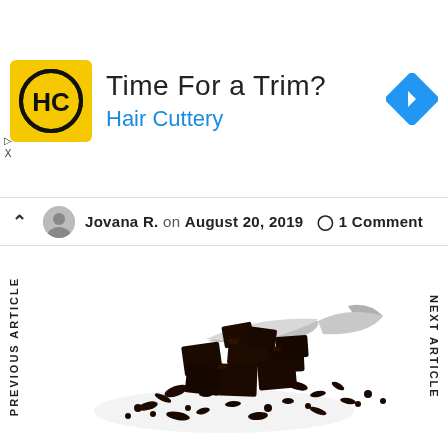[Figure (infographic): Advertisement banner for Hair Cuttery. Features HC logo in yellow square on left, text 'Time For a Trim?' in large black font, 'Hair Cuttery' in blue below, and a blue diamond-shaped navigation arrow on the right.]
Jovana R. on August 20, 2019  ○ 1 Comment
[Figure (photo): Photo of dark chocolate chunks and shavings piled on a white background with a silver spoon resting on top of the pile.]